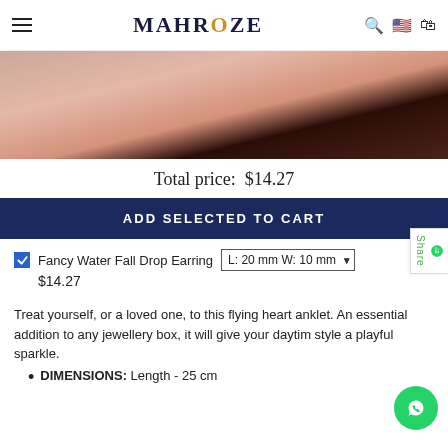MAHROZE
[Figure (photo): Close-up photo of a person's neck/ear area, showing dark hair pulled back, wearing an earring, with a reddish/salmon colored top.]
Total price: $14.27
ADD SELECTED TO CART
Fancy Water Fall Drop Earring  L: 20 mm W: 10 mm
$14.27
Treat yourself, or a loved one, to this flying heart anklet. An essential addition to any jewellery box, it will give your daytime style a playful sparkle.
DIMENSIONS: Length - 25 cm